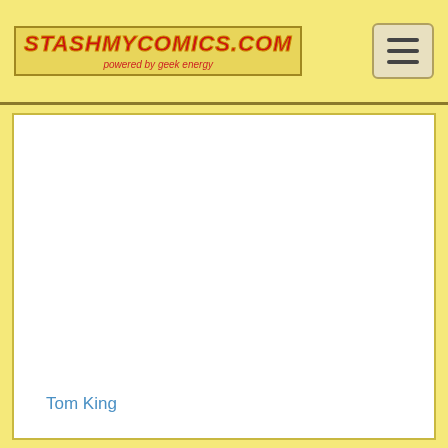StashMyComics.com — powered by geek energy
[Figure (screenshot): White content card area with no visible loaded content]
Tom King